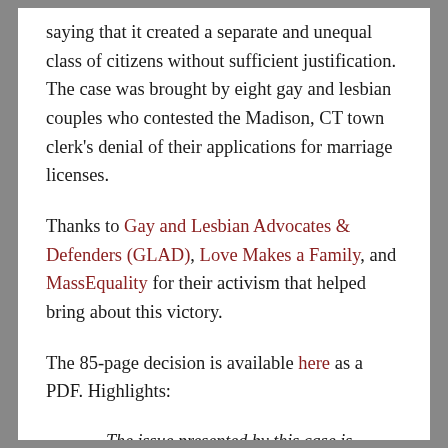saying that it created a separate and unequal class of citizens without sufficient justification. The case was brought by eight gay and lesbian couples who contested the Madison, CT town clerk's denial of their applications for marriage licenses.
Thanks to Gay and Lesbian Advocates & Defenders (GLAD), Love Makes a Family, and MassEquality for their activism that helped bring about this victory.
The 85-page decision is available here as a PDF. Highlights:
The issue presented by this case is whether the state statutory prohibition